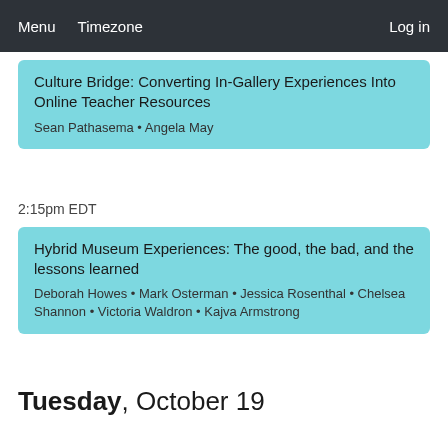Menu  Timezone  Log in
Culture Bridge: Converting In-Gallery Experiences Into Online Teacher Resources
Sean Pathasema • Angela May
2:15pm EDT
Hybrid Museum Experiences: The good, the bad, and the lessons learned
Deborah Howes • Mark Osterman • Jessica Rosenthal • Chelsea Shannon • Victoria Waldron • Kajva Armstrong
Tuesday, October 19
1:15pm EDT